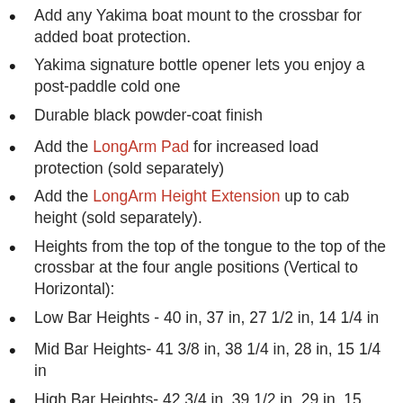Add any Yakima boat mount to the crossbar for added boat protection.
Yakima signature bottle opener lets you enjoy a post-paddle cold one
Durable black powder-coat finish
Add the LongArm Pad for increased load protection (sold separately)
Add the LongArm Height Extension up to cab height (sold separately).
Heights from the top of the tongue to the top of the crossbar at the four angle positions (Vertical to Horizontal):
Low Bar Heights - 40 in, 37 in, 27 1/2 in, 14 1/4 in
Mid Bar Heights- 41 3/8 in, 38 1/4 in, 28 in, 15 1/4 in
High Bar Heights- 42 3/4 in, 39 1/2 in, 29 in, 15 3/4 in